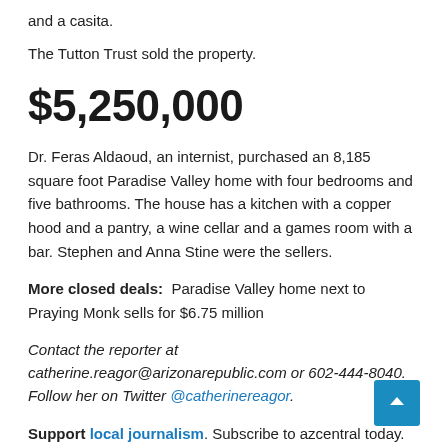and a casita.
The Tutton Trust sold the property.
$5,250,000
Dr. Feras Aldaoud, an internist, purchased an 8,185 square foot Paradise Valley home with four bedrooms and five bathrooms. The house has a kitchen with a copper hood and a pantry, a wine cellar and a games room with a bar. Stephen and Anna Stine were the sellers.
More closed deals: Paradise Valley home next to Praying Monk sells for $6.75 million
Contact the reporter at catherine.reagor@arizonarepublic.com or 602-444-8040. Follow her on Twitter @catherinereagor.
Support local journalism. Subscribe to azcentral today.
Related Posts: